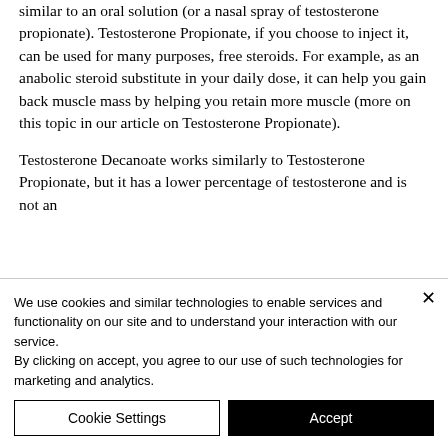similar to an oral solution (or a nasal spray of testosterone propionate). Testosterone Propionate, if you choose to inject it, can be used for many purposes, free steroids. For example, as an anabolic steroid substitute in your daily dose, it can help you gain back muscle mass by helping you retain more muscle (more on this topic in our article on Testosterone Propionate).
Testosterone Decanoate works similarly to Testosterone Propionate, but it has a lower percentage of testosterone and is not an
We use cookies and similar technologies to enable services and functionality on our site and to understand your interaction with our service.
By clicking on accept, you agree to our use of such technologies for marketing and analytics.